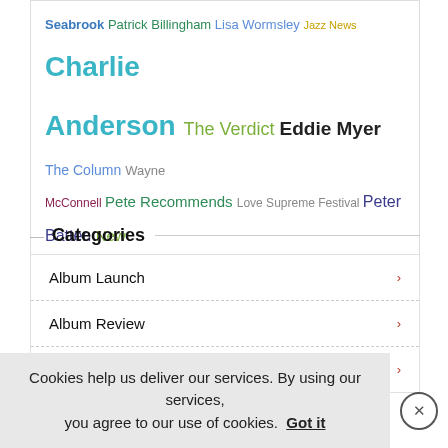Seabrook Patrick Billingham Lisa Wormsley Jazz News Charlie Anderson The Verdict Eddie Myer The Column Wayne McConnell Pete Recommends Love Supreme Festival Peter Batten New Generation Jazz Big Band Scene Review Jazz Education
Categories
Album Launch
Album Review
Anniversary
Cookies help us deliver our services. By using our services, you agree to our use of cookies. Got it
Big Band Scene